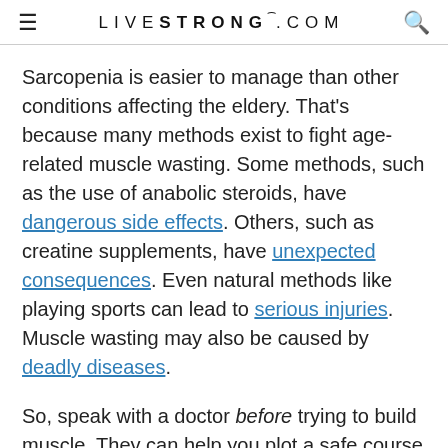LIVESTRONG.COM
Sarcopenia is easier to manage than other conditions affecting the eldery. That's because many methods exist to fight age-related muscle wasting. Some methods, such as the use of anabolic steroids, have dangerous side effects. Others, such as creatine supplements, have unexpected consequences. Even natural methods like playing sports can lead to serious injuries. Muscle wasting may also be caused by deadly diseases.
So, speak with a doctor before trying to build muscle. They can help you plot a safe course of action. They might also find an underlying cause, irrespective of your age. Early diagnosis will increase the